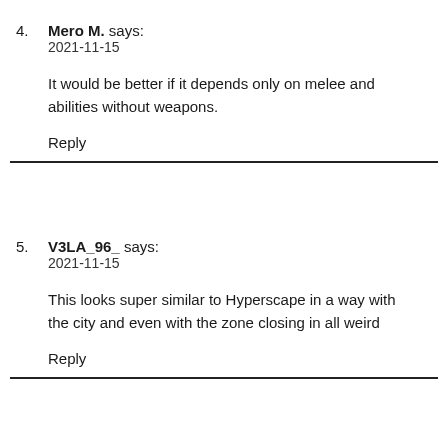4. Mero M. says:
2021-11-15

It would be better if it depends only on melee and abilities without weapons.

Reply
5. V3LA_96_ says:
2021-11-15

This looks super similar to Hyperscape in a way with the city and even with the zone closing in all weird

Reply